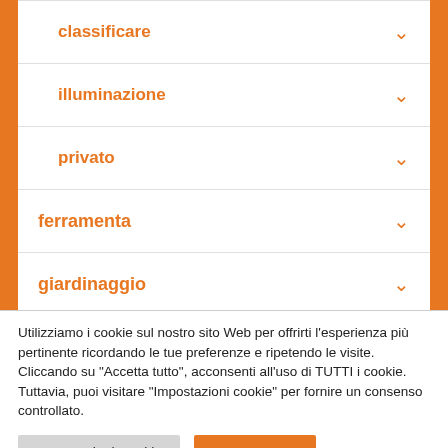classificare
illuminazione
privato
ferramenta
giardinaggio
idraulica
Utilizziamo i cookie sul nostro sito Web per offrirti l'esperienza più pertinente ricordando le tue preferenze e ripetendo le visite. Cliccando su "Accetta tutto", acconsenti all'uso di TUTTI i cookie. Tuttavia, puoi visitare "Impostazioni cookie" per fornire un consenso controllato.
Impostazioni Cookie | Accetto tutto